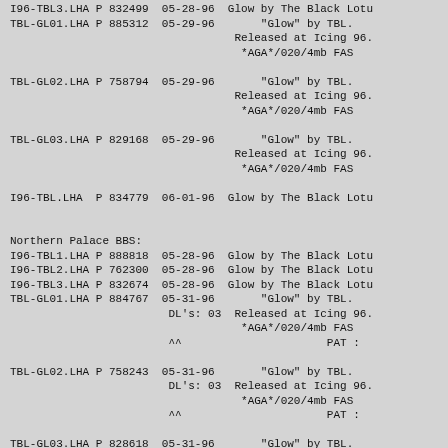I96-TBL3.LHA P 832499  05-28-96  Glow by The Black Lotu
TBL-GLO1.LHA P 885312  05-29-96       "Glow" by TBL.
                                  Released at Icing 96.
                                   *AGA*/020/4mb FAS

TBL-GLO2.LHA P 758794  05-29-96       "Glow" by TBL.
                                  Released at Icing 96.
                                   *AGA*/020/4mb FAS

TBL-GLO3.LHA P 829168  05-29-96       "Glow" by TBL.
                                  Released at Icing 96.
                                   *AGA*/020/4mb FAS

I96-TBL.LHA  P 834779  06-01-96  Glow by The Black Lotu


Northern Palace BBS:
I96-TBL1.LHA P 888818  05-28-96  Glow by The Black Lotu
I96-TBL2.LHA P 762300  05-28-96  Glow by The Black Lotu
I96-TBL3.LHA P 832674  05-28-96  Glow by The Black Lotu
TBL-GLO1.LHA P 884767  05-31-96       "Glow" by TBL.
                        DL's: 03  Released at Icing 96.
                                   *AGA*/020/4mb FAS
                        ^^                      PAT :

TBL-GLO2.LHA P 758243  05-31-96       "Glow" by TBL.
                        DL's: 03  Released at Icing 96.
                                   *AGA*/020/4mb FAS
                        ^^                      PAT :

TBL-GLO3.LHA P 828618  05-31-96       "Glow" by TBL.
                        DL's: 03  Released at Icing 96.
                                   *AGA*/020/4mb FAS
                        ^^                      PAT :